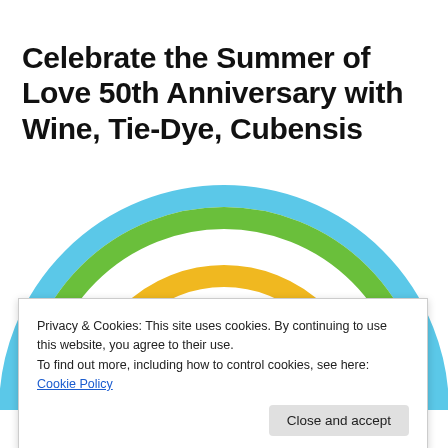Celebrate the Summer of Love 50th Anniversary with Wine, Tie-Dye, Cubensis
[Figure (illustration): Partial rainbow arc with concentric colored semicircles (blue, green, yellow/orange) and large red '50th' text in the center, partially visible. Bottom shows red 'SUMMER' text partially cut off.]
Privacy & Cookies: This site uses cookies. By continuing to use this website, you agree to their use.
To find out more, including how to control cookies, see here: Cookie Policy
Close and accept